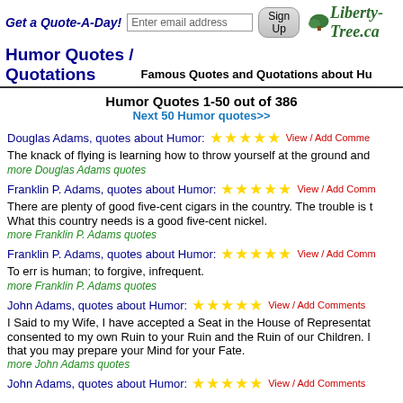Get a Quote-A-Day! | Liberty-Tree.ca
Humor Quotes / Quotations
Famous Quotes and Quotations about Humor
Humor Quotes 1-50 out of 386
Next 50 Humor quotes>>
Douglas Adams, quotes about Humor:
The knack of flying is learning how to throw yourself at the ground and
more Douglas Adams quotes
Franklin P. Adams, quotes about Humor:
There are plenty of good five-cent cigars in the country. The trouble is t What this country needs is a good five-cent nickel.
more Franklin P. Adams quotes
Franklin P. Adams, quotes about Humor:
To err is human; to forgive, infrequent.
more Franklin P. Adams quotes
John Adams, quotes about Humor:
I Said to my Wife, I have accepted a Seat in the House of Representat consented to my own Ruin to your Ruin and the Ruin of our Children. I that you may prepare your Mind for your Fate.
more John Adams quotes
John Adams, quotes about Humor: